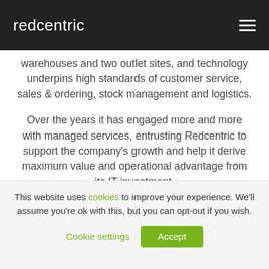redcentric
warehouses and two outlet sites, and technology underpins high standards of customer service, sales & ordering, stock management and logistics.

Over the years it has engaged more and more with managed services, entrusting Redcentric to support the company's growth and help it derive maximum value and operational advantage from its IT investment.
This website uses cookies to improve your experience. We'll assume you're ok with this, but you can opt-out if you wish.
Cookie settings  Accept